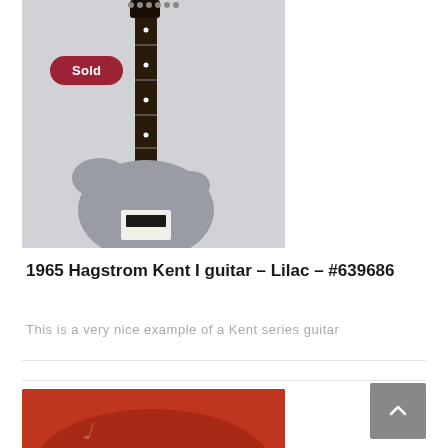[Figure (photo): Silver/lilac electric guitar (Hagstrom Kent I) hanging against a white cloth background. A red rounded rectangle 'Sold' badge overlays the top-left of the image.]
1965 Hagstrom Kent I guitar – Lilac – #639686
This is a very nice example of a Kent series guitar
[Figure (photo): Partial view of a red electric guitar case or guitar body, partially visible at the bottom of the page.]